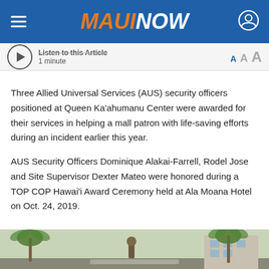MAUI NOW
Listen to this Article
1 minute
Three Allied Universal Services (AUS) security officers positioned at Queen Ka‘ahumanu Center were awarded for their services in helping a mall patron with life-saving efforts during an incident earlier this year.
AUS Security Officers Dominique Alakai-Farrell, Rodel Jose and Site Supervisor Dexter Mateo were honored during a TOP COP Hawai‘i Award Ceremony held at Ala Moana Hotel on Oct. 24, 2019.
[Figure (photo): Photo of Queen Ka‘ahumanu Center or award ceremony venue exterior with palm trees and a statue visible]